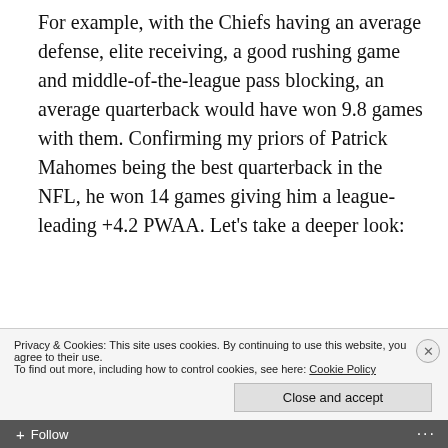For example, with the Chiefs having an average defense, elite receiving, a good rushing game and middle-of-the-league pass blocking, an average quarterback would have won 9.8 games with them. Confirming my priors of Patrick Mahomes being the best quarterback in the NFL, he won 14 games giving him a league-leading +4.2 PWAA. Let's take a deeper look:
[Figure (infographic): Chart titled 'Each Team's Passer Wins Over Average' with subtitle 'The team logo is for a team's wins with an average quarterback and the face of each quarterback is how many wins they added'. Shows horizontal bars for NFL teams with team logos and quarterback face images. Partial view showing bars for multiple teams.]
Privacy & Cookies: This site uses cookies. By continuing to use this website, you agree to their use.
To find out more, including how to control cookies, see here: Cookie Policy
Close and accept
Follow